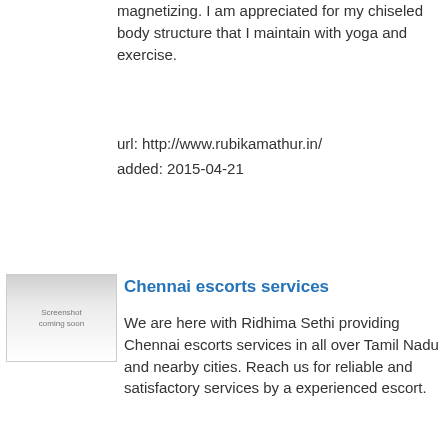magnetizing. I am appreciated for my chiseled body structure that I maintain with yoga and exercise.
url: http://www.rubikamathur.in/
added: 2015-04-21
[Figure (screenshot): Screenshot placeholder image with 'Screenshot coming soon' text]
Chennai escorts services
We are here with Ridhima Sethi providing Chennai escorts services in all over Tamil Nadu and nearby cities. Reach us for reliable and satisfactory services by a experienced escort.
url: http://www.ridhimasethi.co.in/
added: 2015-03-10
[Figure (screenshot): Dark themed website screenshot with blue UI elements]
Ahmedabad Escorts - Romantic Night – 09905748444
Sonia-09905748444 Dear escorts customer in Ahmedabad Escorts Girls profile of the type of sex. It's present in our agency. Ahmedabad Callgirls Ahmdabd Escorts or more.